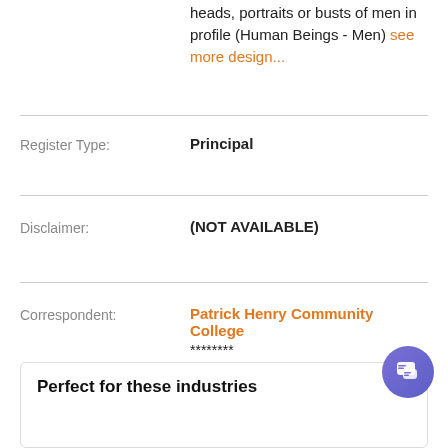heads, portraits or busts of men in profile (Human Beings - Men) see more design...
Register Type: Principal
Disclaimer: (NOT AVAILABLE)
Correspondent: Patrick Henry Community College ******** ******** ***** ****
Perfect for these industries